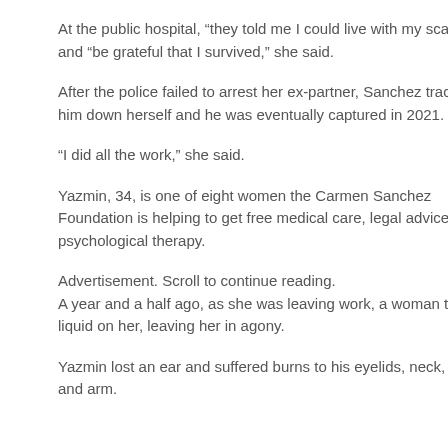At the public hospital, “they told me I could live with my scars” and “be grateful that I survived,” she said.
After the police failed to arrest her ex-partner, Sanchez tracked him down herself and he was eventually captured in 2021.
“I did all the work,” she said.
Yazmin, 34, is one of eight women the Carmen Sanchez Foundation is helping to get free medical care, legal advice and psychological therapy.
Advertisement. Scroll to continue reading.
A year and a half ago, as she was leaving work, a woman threw liquid on her, leaving her in agony.
Yazmin lost an ear and suffered burns to his eyelids, neck, legs and arm.